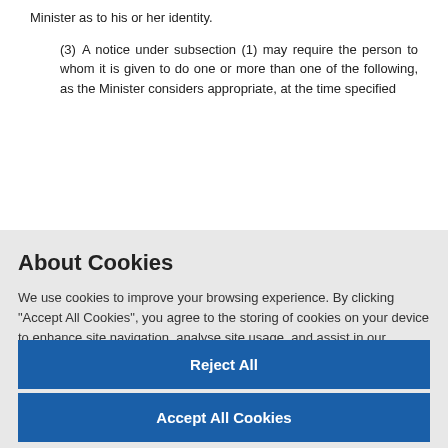Minister as to his or her identity.
(3) A notice under subsection (1) may require the person to whom it is given to do one or more than one of the following, as the Minister considers appropriate, at the time specified
About Cookies
We use cookies to improve your browsing experience. By clicking "Accept All Cookies", you agree to the storing of cookies on your device to enhance site navigation, analyse site usage, and assist in our marketing efforts. You can modify your cookie preferences by clicking on cookie settings within our Cookie Policy
Cookies Settings
Reject All
Accept All Cookies